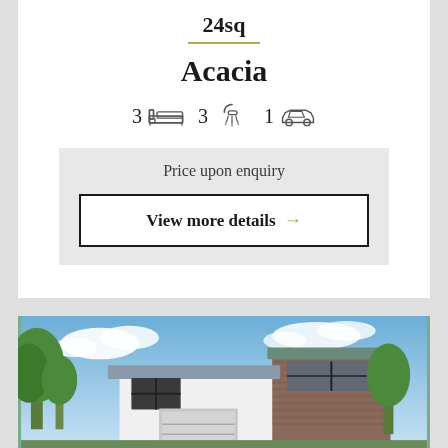24sq
Acacia
3 beds, 3 bathrooms, 1 garage
Price upon enquiry
View more details →
[Figure (photo): Two-storey house with brick and white render facade, dark roof, trees in background, blue sky with clouds]